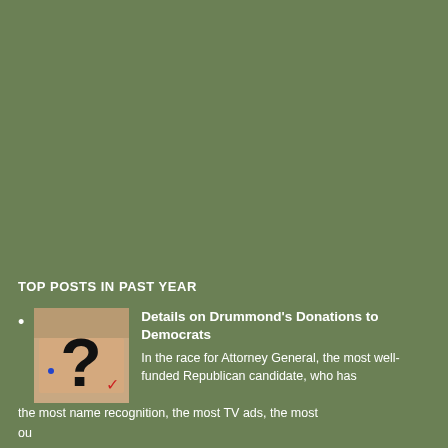TOP POSTS IN PAST YEAR
[Figure (photo): Thumbnail image of a person with a question mark overlaid on their face]
Details on Drummond's Donations to Democrats
In the race for Attorney General, the most well-funded Republican candidate, who has the most name recognition, the most TV ads, the most ou...